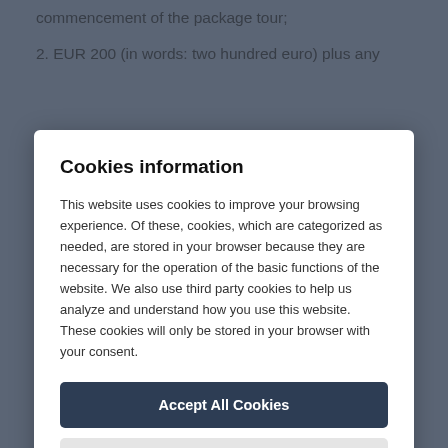commencement of the package tour;
2. EUR 200 (in words: two hundred euro) plus any
Cookies information
This website uses cookies to improve your browsing experience. Of these, cookies, which are categorized as needed, are stored in your browser because they are necessary for the operation of the basic functions of the website. We also use third party cookies to help us analyze and understand how you use this website. These cookies will only be stored in your browser with your consent.
Accept All Cookies
Cookies Prefences
package tour and already incurred proved costs in